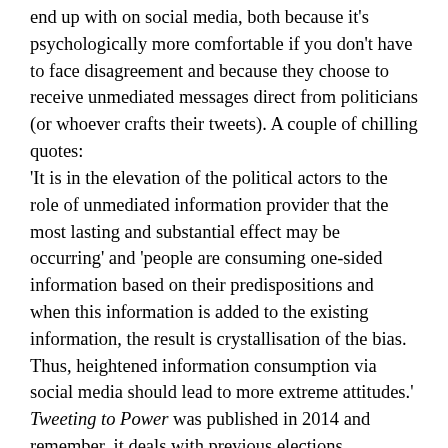end up with on social media, both because it's psychologically more comfortable if you don't have to face disagreement and because they choose to receive unmediated messages direct from politicians (or whoever crafts their tweets). A couple of chilling quotes:
'It is in the elevation of the political actors to the role of unmediated information provider that the most lasting and substantial effect may be occurring' and 'people are consuming one-sided information based on their predispositions and when this information is added to the existing information, the result is crystallisation of the bias. Thus, heightened information consumption via social media should lead to more extreme attitudes.' Tweeting to Power was published in 2014 and remember, it deals with previous elections.
Also recommended, a brief article by Philip Seargeant and Caroline Tagg discussing Facebook information bubbles and why they might be your own fault.
And now to cheer us up, March is a good month for going out early to hear the birds singing, if the weather isn't too bad. I went on a guided dawn chorus walk one March on One Tree Hill and was told the smallest birds start singing first, as